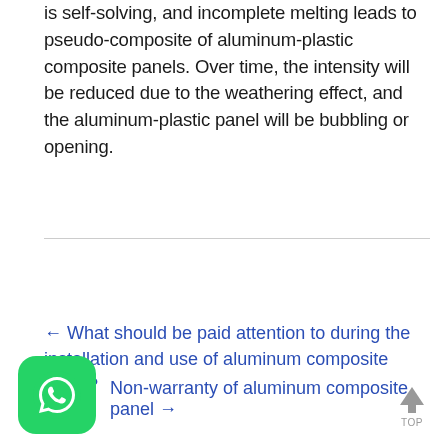is self-solving, and incomplete melting leads to pseudo-composite of aluminum-plastic composite panels. Over time, the intensity will be reduced due to the weathering effect, and the aluminum-plastic panel will be bubbling or opening.
← What should be paid attention to during the installation and use of aluminum composite panel?
Non-warranty of aluminum composite panel →